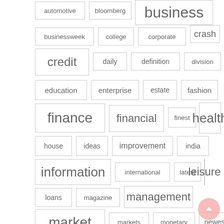[Figure (infographic): Tag cloud showing finance and business related keywords in varying font sizes reflecting their frequency/importance. Tags include: automotive, bloomberg, business, businessweek, college, corporate, crash, credit, daily, definition, division, education, enterprise, estate, fashion, finance, financial, finest, health, house, ideas, improvement, india, information, international, latest, leisure, loans, magazine, management, market, markets, monetary, newest]